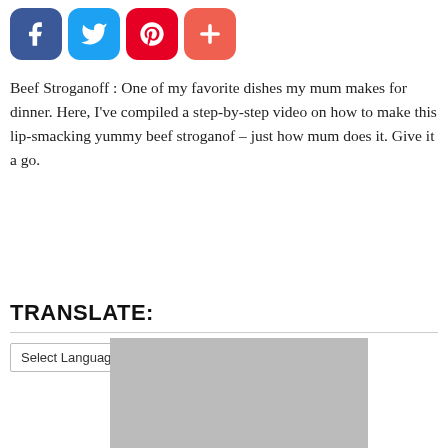[Figure (other): Social sharing icons: Facebook (blue rounded square), Twitter (light blue rounded square), Pinterest (red rounded square), Plus/Add (salmon/orange rounded square)]
Beef Stroganoff : One of my favorite dishes my mum makes for dinner. Here, I've compiled a step-by-step video on how to make this lip-smacking yummy beef stroganof – just how mum does it. Give it a go.
TRANSLATE:
[Figure (screenshot): Google Translate widget with a 'Select Language' dropdown and 'Powered by Google Translate' label]
[Figure (photo): Gray placeholder image at bottom of page]